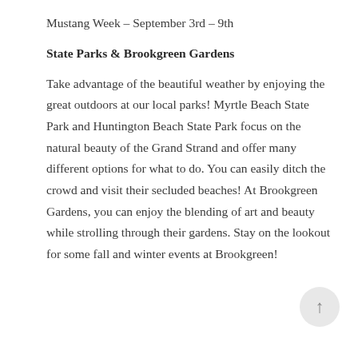Mustang Week – September 3rd – 9th
State Parks & Brookgreen Gardens
Take advantage of the beautiful weather by enjoying the great outdoors at our local parks! Myrtle Beach State Park and Huntington Beach State Park focus on the natural beauty of the Grand Strand and offer many different options for what to do. You can easily ditch the crowd and visit their secluded beaches! At Brookgreen Gardens, you can enjoy the blending of art and beauty while strolling through their gardens. Stay on the lookout for some fall and winter events at Brookgreen!